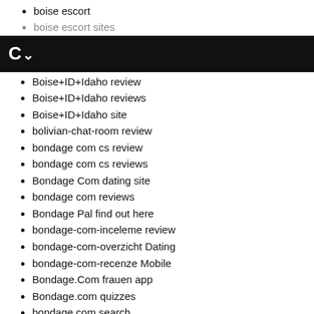boise escort
boise escort sites
C~
Boise+ID+Idaho review
Boise+ID+Idaho reviews
Boise+ID+Idaho site
bolivian-chat-room review
bondage com cs review
bondage com cs reviews
Bondage Com dating site
bondage com reviews
Bondage Pal find out here
bondage-com-inceleme review
bondage-com-overzicht Dating
bondage-com-recenze Mobile
Bondage.Com frauen app
Bondage.com quizzes
bondage.com search
Bondage.com useful content
Bondage.com visitors
Bondagecom meetic
Bondagedating review
BoneAMilf review
Bonga Cam dating
Bonga Cam review